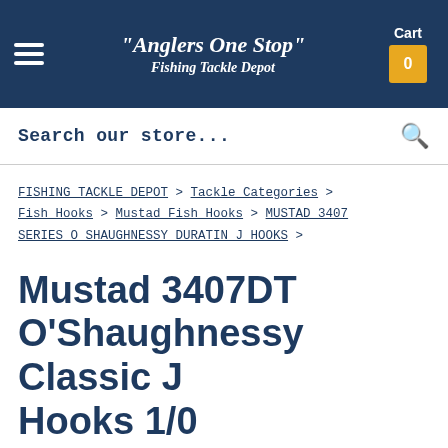"Anglers One Stop" Fishing Tackle Depot | Cart 0
Search our store...
FISHING TACKLE DEPOT > Tackle Categories > Fish Hooks > Mustad Fish Hooks > MUSTAD 3407 SERIES O SHAUGHNESSY DURATIN J HOOKS >
Mustad 3407DT O'Shaughnessy Classic J Hooks 1/0